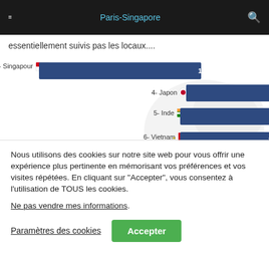Paris-Singapore
essentiellement suivis pas les locaux....
[Figure (bar-chart): Bar chart of Asian countries]
Nous utilisons des cookies sur notre site web pour vous offrir une expérience plus pertinente en mémorisant vos préférences et vos visites répétées. En cliquant sur "Accepter", vous consentez à l'utilisation de TOUS les cookies.
Ne pas vendre mes informations.
Paramètres des cookies
Accepter